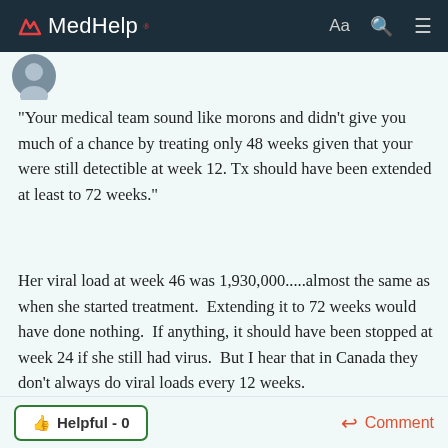MedHelp
"Your medical team sound like morons and didn't give you much of a chance by treating only 48 weeks given that your were still detectible at week 12. Tx should have been extended at least to 72 weeks."
Her viral load at week 46 was 1,930,000.....almost the same as when she started treatment.  Extending it to 72 weeks would have done nothing.  If anything, it should have been stopped at week 24 if she still had virus.  But I hear that in Canada they don't always do viral loads every 12 weeks.